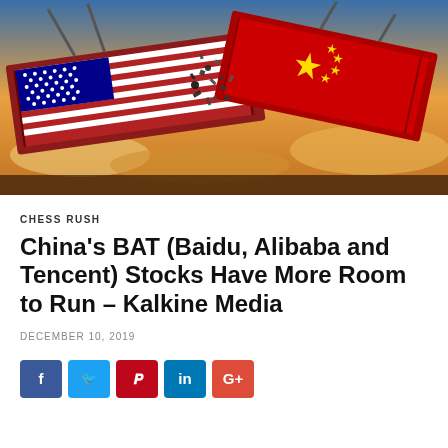[Figure (photo): Two shipping containers colliding mid-air — one decorated with the US flag (stars and stripes), the other with the Chinese flag (red with yellow stars), exploding debris at the collision point, dramatic sky background. Symbolizes US-China trade war.]
CHESS RUSH
China's BAT (Baidu, Alibaba and Tencent) Stocks Have More Room to Run – Kalkine Media
DECEMBER 10, 2019
[Figure (other): Social sharing buttons: Facebook (blue), Twitter (light blue), Pinterest (dark red), LinkedIn (blue), Google+ (red)]